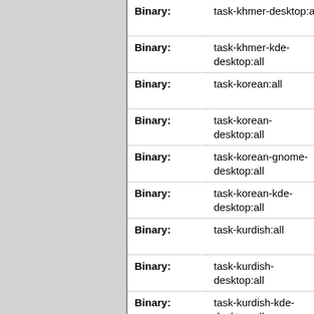| Field | Value | Extra |
| --- | --- | --- |
| Binary: | task-khmer-desktop:all | p m |
| Binary: | task-khmer-kde-desktop:all | p m |
| Binary: | task-korean:all | p m |
| Binary: | task-korean-desktop:all | p m |
| Binary: | task-korean-gnome-desktop:all | p m |
| Binary: | task-korean-kde-desktop:all | p m |
| Binary: | task-kurdish:all | p m |
| Binary: | task-kurdish-desktop:all | p m |
| Binary: | task-kurdish-kde-desktop:all | p m |
| Binary: | task-laptop:all | p m |